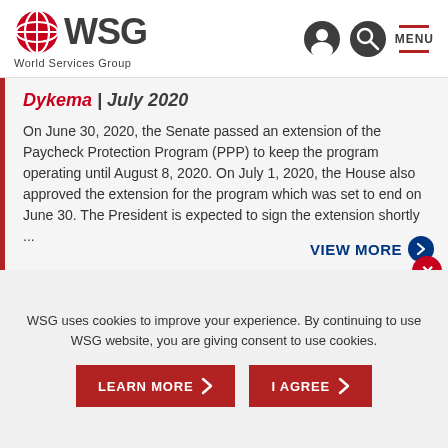WSG World Services Group
Dykema | July 2020
On June 30, 2020, the Senate passed an extension of the Paycheck Protection Program (PPP) to keep the program operating until August 8, 2020. On July 1, 2020, the House also approved the extension for the program which was set to end on June 30. The President is expected to sign the extension shortly ...
VIEW MORE
WSG uses cookies to improve your experience. By continuing to use WSG website, you are giving consent to use cookies.
LEARN MORE
I AGREE